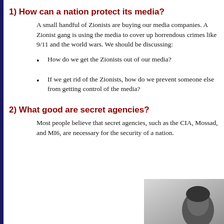1) How can a nation protect its media?
A small handful of Zionists are buying our media companies. A Zionist gang is using the media to cover up horrendous crimes like 9/11 and the world wars. We should be discussing:
How do we get the Zionists out of our media?
If we get rid of the Zionists, how do we prevent someone else from getting control of the media?
2) What good are secret agencies?
Most people believe that secret agencies, such as the CIA, Mossad, and MI6, are necessary for the security of a nation.
[Figure (photo): Black and white photograph of a person's head/face, partially visible in bottom right corner of page.]